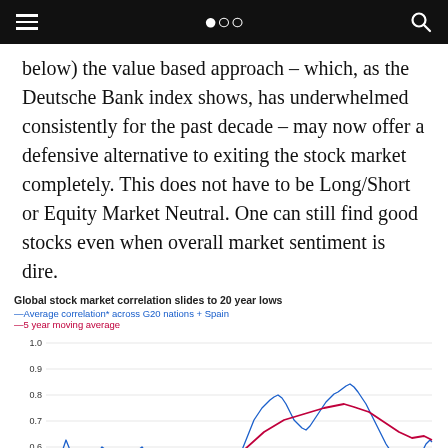Navigation bar
below) the value based approach – which, as the Deutsche Bank index shows, has underwhelmed consistently for the past decade – may now offer a defensive alternative to exiting the stock market completely. This does not have to be Long/Short or Equity Market Neutral. One can still find good stocks even when overall market sentiment is dire.
[Figure (continuous-plot): Line chart showing average correlation across G20 nations + Spain (blue line) and 5 year moving average (red line) over time. Y-axis ranges from approximately 0.4 to 1.0. The blue line shows high volatility with peaks near 0.85 around recent years and valleys near 0.4. The red moving average line peaks near 0.70.]